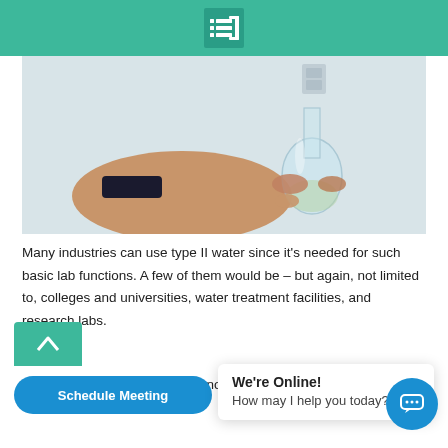[Figure (photo): A hand holding a glass Erlenmeyer flask against a white wall background, with a dark wristband visible on the wrist.]
Many industries can use type II water since it's needed for such basic lab functions.  A few of them would be – but again, not limited to, colleges and universities, water treatment facilities, and research labs.
ing on the Cascade is very economical.  The